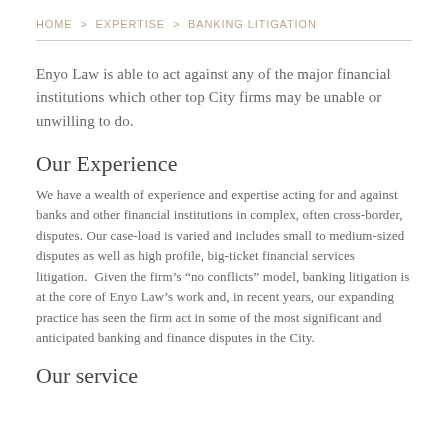HOME > EXPERTISE > BANKING LITIGATION
Enyo Law is able to act against any of the major financial institutions which other top City firms may be unable or unwilling to do.
Our Experience
We have a wealth of experience and expertise acting for and against banks and other financial institutions in complex, often cross-border, disputes. Our case-load is varied and includes small to medium-sized disputes as well as high profile, big-ticket financial services litigation.  Given the firm’s “no conflicts” model, banking litigation is at the core of Enyo Law’s work and, in recent years, our expanding practice has seen the firm act in some of the most significant and anticipated banking and finance disputes in the City.
Our service